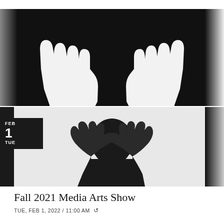[Figure (photo): Two black-and-white photographic images stacked vertically. Top image shows two white silhouetted hands against a black background, fingers spread upward. Bottom image shows a person's dark silhouette from behind, hands raised touching their head, against a light gray background. A dark date badge with 'FEB 1 TUE' overlays the left side between the two images.]
Fall 2021 Media Arts Show
TUE, FEB 1, 2022 / 11:00 AM ↻